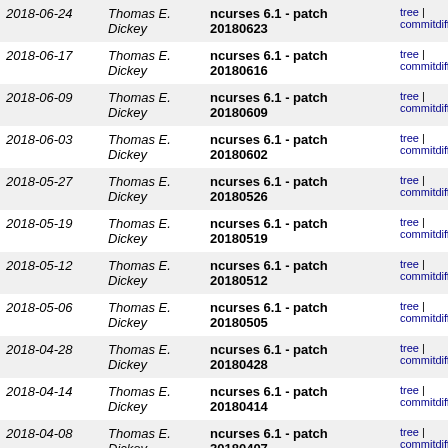| Date | Author | Description | Links |
| --- | --- | --- | --- |
| 2018-06-24 | Thomas E. Dickey | ncurses 6.1 - patch 20180623 | tree | commitdiff |
| 2018-06-17 | Thomas E. Dickey | ncurses 6.1 - patch 20180616 | tree | commitdiff |
| 2018-06-09 | Thomas E. Dickey | ncurses 6.1 - patch 20180609 | tree | commitdiff |
| 2018-06-03 | Thomas E. Dickey | ncurses 6.1 - patch 20180602 | tree | commitdiff |
| 2018-05-27 | Thomas E. Dickey | ncurses 6.1 - patch 20180526 | tree | commitdiff |
| 2018-05-19 | Thomas E. Dickey | ncurses 6.1 - patch 20180519 | tree | commitdiff |
| 2018-05-12 | Thomas E. Dickey | ncurses 6.1 - patch 20180512 | tree | commitdiff |
| 2018-05-06 | Thomas E. Dickey | ncurses 6.1 - patch 20180505 | tree | commitdiff |
| 2018-04-28 | Thomas E. Dickey | ncurses 6.1 - patch 20180428 | tree | commitdiff |
| 2018-04-14 | Thomas E. Dickey | ncurses 6.1 - patch 20180414 | tree | commitdiff |
| 2018-04-08 | Thomas E. Dickey | ncurses 6.1 - patch 20180407 | tree | commitdiff |
| 2018-04-01 | Thomas E. Dickey | ncurses 6.1 - patch 20180331 | tree | commitdiff |
| 2018-03-25 | Thomas E. Dickey | ncurses 6.1 - patch 20180324 | tree | commitdiff |
| 2018-03-… | Thomas E. … | ncurses 6.1 - patch … | tree | |